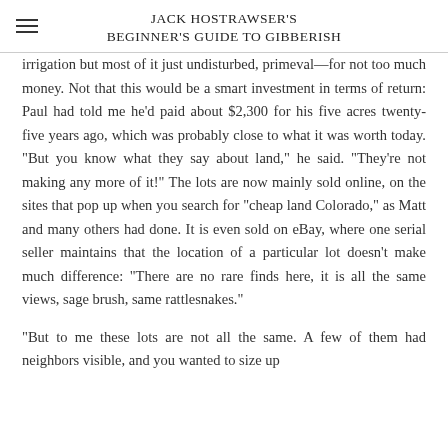JACK HOSTRAWSER'S BEGINNER'S GUIDE TO GIBBERISH
irrigation but most of it just undisturbed, primeval—for not too much money. Not that this would be a smart investment in terms of return: Paul had told me he'd paid about $2,300 for his five acres twenty-five years ago, which was probably close to what it was worth today. "But you know what they say about land," he said. "They're not making any more of it!" The lots are now mainly sold online, on the sites that pop up when you search for "cheap land Colorado," as Matt and many others had done. It is even sold on eBay, where one serial seller maintains that the location of a particular lot doesn't make much difference: "There are no rare finds here, it is all the same views, sage brush, same rattlesnakes."
"But to me these lots are not all the same. A few of them had neighbors visible, and you wanted to size up